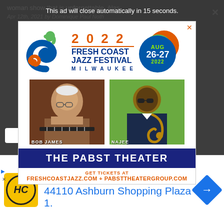woman show that is unforgettable. Alas.
Apr 12th, 2021 by Dominique Paul Noth
This ad will close automatically in 15 seconds.
[Figure (infographic): 2022 Fresh Coast Jazz Festival Milwaukee advertisement. Features an S-shaped spiral logo in blue, green, and orange, with text '2022 Fresh Coast Jazz Festival Milwaukee', a blue circular date badge reading 'AUG 26-27 2022', photos of two jazz artists labeled BOB JAMES and NAJEE, a dark blue banner reading 'THE PABST THEATER', and text 'GET TICKETS AT FRESHCOASTJAZZ.COM + PABSTTHEATERGROUP.COM']
Ashburn   OPEN  8AM–8PM
44110 Ashburn Shopping Plaza 1.